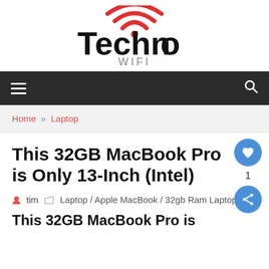[Figure (logo): TechnoWifi logo with red wifi icon above the text 'Techno' and 'WIFI' in gray below]
Navigation bar with hamburger menu and search icon
Home » Laptop
This 32GB MacBook Pro is Only 13-Inch (Intel)
tim   Laptop / Apple MacBook / 32gb Ram Laptop
This 32GB MacBook Pro is